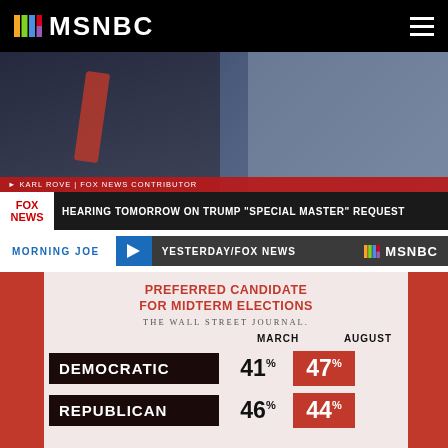MSNBC
[Figure (screenshot): Fox News screenshot showing Karl Rove as contributor with chyron: HEARING TOMORROW ON TRUMP "SPECIAL MASTER" REQUEST]
MORNING JOE | YESTERDAY/FOX NEWS
Karl Rove says Trump not allowed to take documents from White House
|  | MARCH | AUGUST |
| --- | --- | --- |
| DEMOCRATIC | 41% | 47% |
| REPUBLICAN | 46% | 44% |